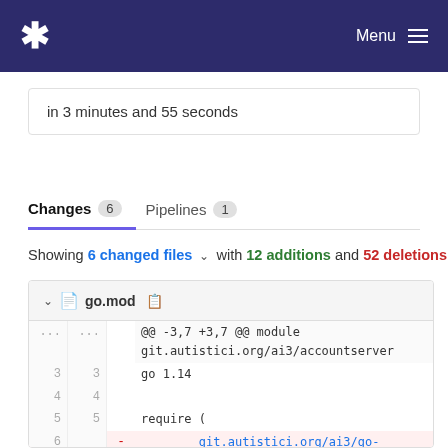* Menu
in 3 minutes and 55 seconds
Changes 6   Pipelines 1
Showing 6 changed files with 12 additions and 52 deletions
| old_line | new_line | op | code |
| --- | --- | --- | --- |
| ... | ... |  | @@ -3,7 +3,7 @@ module git.autistici.org/ai3/accountserver |
| 3 | 3 |  | go 1.14 |
| 4 | 4 |  |  |
| 5 | 5 |  | require ( |
| 6 |  | - |         git.autistici.org/ai3/go-common v0.0.0-20211202183323-8cfdcfb55570 |
|  | 6 | + |         git.autistici.org/ai3/go- |